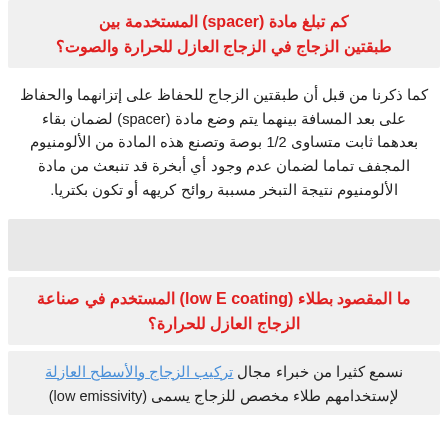كم تبلغ مادة (spacer) المستخدمة بين طبقتين الزجاج في الزجاج العازل للحرارة والصوت؟
كما ذكرنا من قبل أن طبقتين الزجاج للحفاظ على إتزانهما والحفاظ على بعد المسافة بينهما يتم وضع مادة (spacer) لضمان بقاء بعدهما ثابت متساوى 1/2 بوصة وتصنع هذه المادة من الألومنيوم المجفف تماما لضمان عدم وجود أي أبخرة قد تنبعث من مادة الألومنيوم نتيجة التبخر مسببة روائح كريهه أو تكون بكتريا.
[Figure (other): Gray placeholder block]
ما المقصود بطلاء (low E coating) المستخدم في صناعة الزجاج العازل للحرارة؟
نسمع كثيرا من خبراء مجال تركيب الزجاج والأسطح العازلة لإستخدامهم طلاء مخصص للزجاج يسمى (low emissivity)